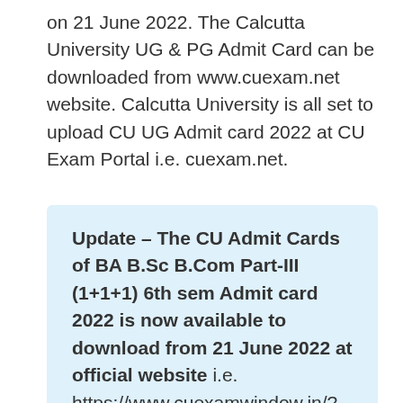on 21 June 2022. The Calcutta University UG & PG Admit Card can be downloaded from www.cuexam.net website. Calcutta University is all set to upload CU UG Admit card 2022 at CU Exam Portal i.e. cuexam.net.
Update – The CU Admit Cards of BA B.Sc B.Com Part-III (1+1+1) 6th sem Admit card 2022 is now available to download from 21 June 2022 at official website i.e. https://www.cuexamwindow.in/?AspxAutoDetectCookieSupport=1